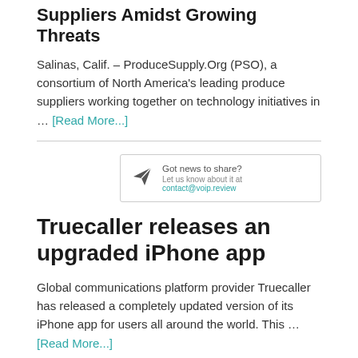Suppliers Amidst Growing Threats
Salinas, Calif. – ProduceSupply.Org (PSO), a consortium of North America's leading produce suppliers working together on technology initiatives in … [Read More...]
[Figure (infographic): A small news submission box with a paper airplane icon, 'Got news to share? Let us know about it at contact@voip.review']
Truecaller releases an upgraded iPhone app
Global communications platform provider Truecaller has released a completely updated version of its iPhone app for users all around the world. This … [Read More...]
[Figure (photo): Partial view of a dark device or cable at the bottom of the page]